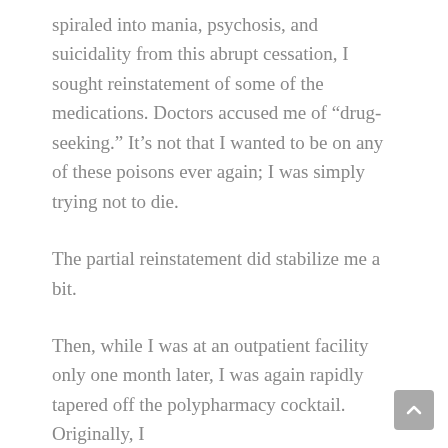spiraled into mania, psychosis, and suicidality from this abrupt cessation, I sought reinstatement of some of the medications. Doctors accused me of “drug-seeking.” It’s not that I wanted to be on any of these poisons ever again; I was simply trying not to die.
The partial reinstatement did stabilize me a bit.
Then, while I was at an outpatient facility only one month later, I was again rapidly tapered off the polypharmacy cocktail. Originally, I